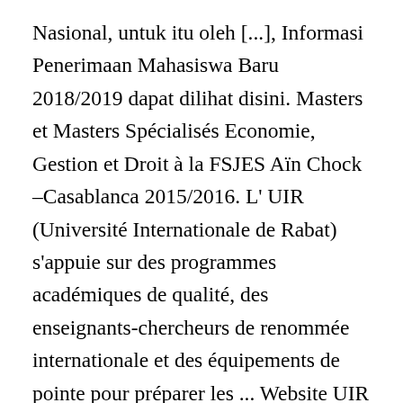Nasional, untuk itu oleh [...], Informasi Penerimaan Mahasiswa Baru 2018/2019 dapat dilihat disini. Masters et Masters Spécialisés Economie, Gestion et Droit à la FSJES Aïn Chock –Casablanca 2015/2016. L' UIR (Université Internationale de Rabat) s'appuie sur des programmes académiques de qualité, des enseignants-chercheurs de renommée internationale et des équipements de pointe pour préparer les ... Website UIR versi terbaru merupakan buah karya Simfokom (Sistem Informasi dan Komputasi) bekerjasama dengan Bagian Humas dan Protokoler Universitas Islam Riau. Kepadatan produksi berita itu erat kaitannya dengan gerak maju Civitas Akademika membawa Universitas Islam Riau mencapai Visi